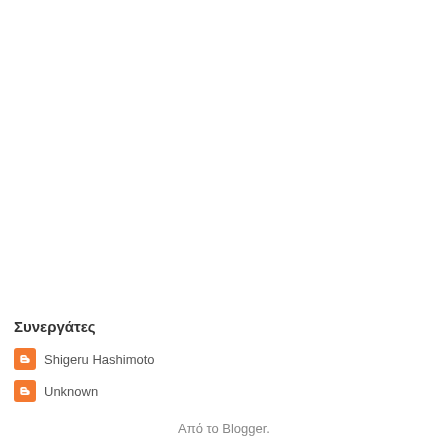Συνεργάτες
Shigeru Hashimoto
Unknown
Από το Blogger.